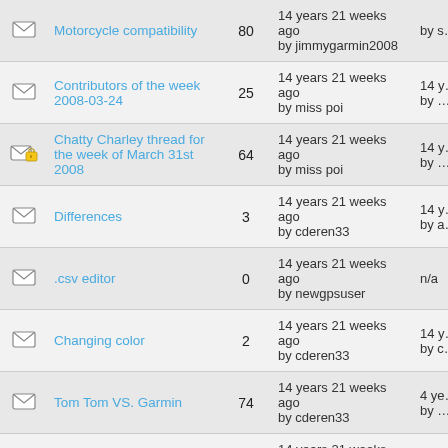|  | Topic | Replies | Last Post |  |
| --- | --- | --- | --- | --- |
| [icon] | Motorcycle compatibility | 80 | 14 years 21 weeks ago by jimmygarmin2008 | by s… |
| [icon] | Contributors of the week 2008-03-24 | 25 | 14 years 21 weeks ago by miss poi | by … |
| [icon-locked] | Chatty Charley thread for the week of March 31st 2008 | 64 | 14 years 21 weeks ago by miss poi | by … |
| [icon] | Differences | 3 | 14 years 21 weeks ago by cderen33 | 14 y… |
| [icon] | .csv editor | 0 | 14 years 21 weeks ago by newgpsuser | n/a |
| [icon] | Changing color | 2 | 14 years 21 weeks ago by cderen33 | 14 y… |
| [icon] | Tom Tom VS. Garmin | 74 | 14 years 21 weeks ago by cderen33 | 4 ye… |
| [icon] |  |  | 14 years 21 weeks ago | 14 y… |